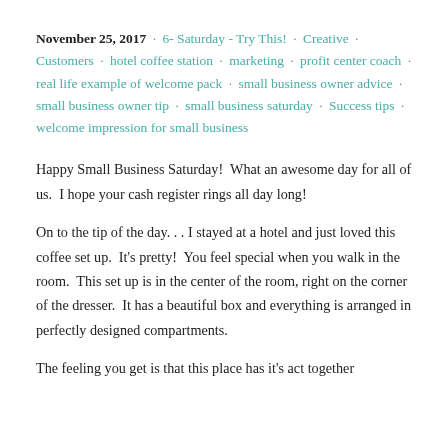November 25, 2017 · 6- Saturday - Try This! · Creative · Customers · hotel coffee station · marketing · profit center coach · real life example of welcome pack · small business owner advice · small business owner tip · small business saturday · Success tips · welcome impression for small business
Happy Small Business Saturday!  What an awesome day for all of us.  I hope your cash register rings all day long!
On to the tip of the day. . . I stayed at a hotel and just loved this coffee set up.  It's pretty!  You feel special when you walk in the room.  This set up is in the center of the room, right on the corner of the dresser.  It has a beautiful box and everything is arranged in perfectly designed compartments.
The feeling you get is that this place has it's act together